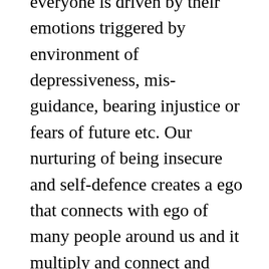everyone is driven by their emotions triggered by environment of depressiveness, mis-guidance, bearing injustice or fears of future etc. Our nurturing of being insecure and self-defence creates a ego that connects with ego of many people around us and it multiply and connect and reconnect with his identity circles where he or she belongs to until it reaches on the level where he or she feel really threat for his or her entire community or region. This heat wave is triggered by those political or socio-economic powers who use or mis-use them for definite or indefinite political agendas. Our